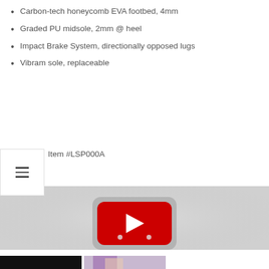Carbon-tech honeycomb EVA footbed, 4mm
Graded PU midsole, 2mm @ heel
Impact Brake System, directionally opposed lugs
Vibram sole, replaceable
Item #LSP000A
[Figure (screenshot): YouTube video embed placeholder showing a grey background with a YouTube play button (red rounded rectangle with white triangle) in the center]
[Figure (photo): Two thumbnail images at the bottom of the page: left is dark/black image, right shows a person with colorful hair]